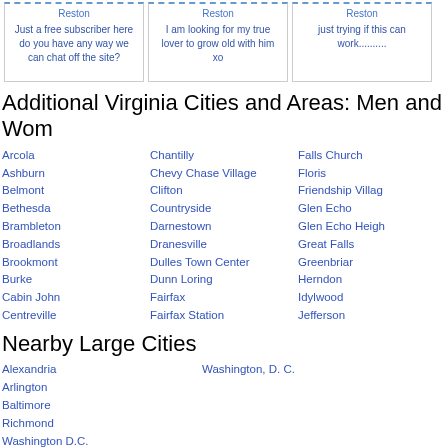Reston / Just a free subscriber here do you have any way we can chat off the site?
Reston / I am looking for my true lover to grow old with him xo
Reston / just trying if this can work..........
Additional Virginia Cities and Areas: Men and Women
Arcola
Ashburn
Belmont
Bethesda
Brambleton
Broadlands
Brookmont
Burke
Cabin John
Centreville
Chantilly
Chevy Chase Village
Clifton
Countryside
Darnestown
Dranesville
Dulles Town Center
Dunn Loring
Fairfax
Fairfax Station
Falls Church
Floris
Friendship Village
Glen Echo
Glen Echo Heights
Great Falls
Greenbriar
Herndon
Idylwood
Jefferson
Nearby Large Cities
Alexandria
Arlington
Baltimore
Richmond
Washington D.C.
Washington, D. C.
Neighborhoods near Reston